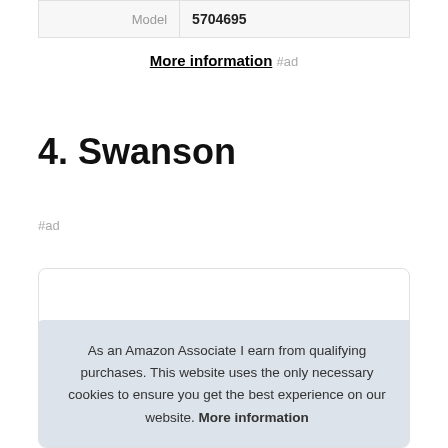| Model | 5704695 |
More information #ad
4. Swanson
#ad
[Figure (photo): Product image of a Swanson item (can/jar), partially visible at top of card]
As an Amazon Associate I earn from qualifying purchases. This website uses the only necessary cookies to ensure you get the best experience on our website. More information